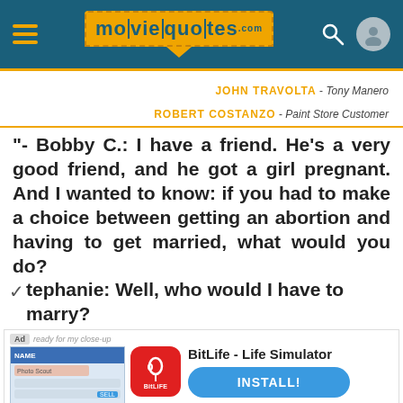moviequotes.com
JOHN TRAVOLTA - Tony Manero
ROBERT COSTANZO - Paint Store Customer
"- Bobby C.: I have a friend. He's a very good friend, and he got a girl pregnant. And I wanted to know: if you had to make a choice between getting an abortion and having to get married, what would you do?
- Stephanie: Well, who would I have to marry?
[Figure (screenshot): Ad banner for BitLife - Life Simulator app with install button]